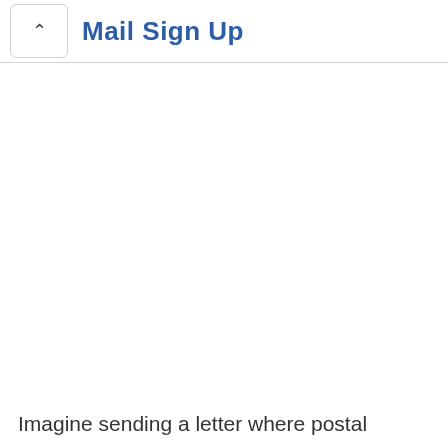Mail Sign Up
Imagine sending a letter where postal